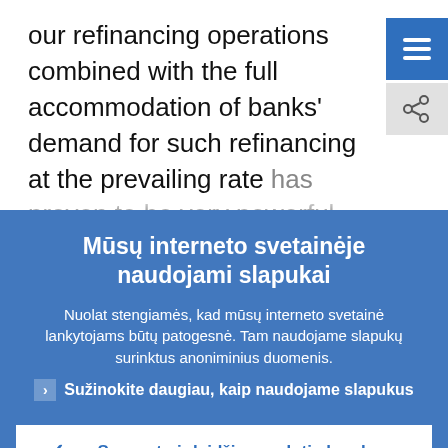our refinancing operations combined with the full accommodation of banks' demand for such refinancing at the prevailing rate has proven to be very powerful. Indeed, thi
Mūsų interneto svetainėje naudojami slapukai
Nuolat stengiamės, kad mūsų interneto svetainė lankytojams būtų patogesnė. Tam naudojame slapukų surinktus anoniminius duomenis.
Sužinokite daugiau, kaip naudojame slapukus
Suprantu ir leidžiu naudoti slapukus
Neleidžiu naudoti slapukų